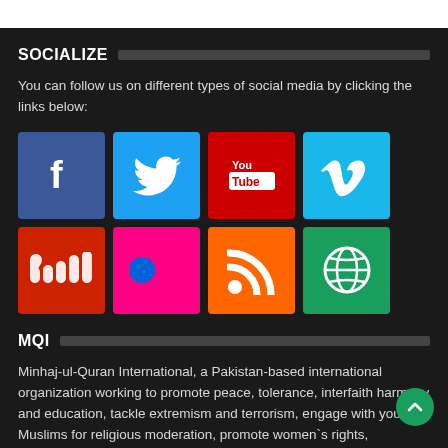SOCIALIZE
You can follow us on different types of social media by clicking the links below:
[Figure (infographic): Grid of social media icons: Facebook, Twitter, YouTube, Vimeo (top row); SoundCloud, Flickr, RSS, Globe/World (bottom row)]
MQI
Minhaj-ul-Quran International, a Pakistan-based international organization working to promote peace, tolerance, interfaith harmony and education, tackle extremism and terrorism, engage with young Muslims for religious moderation, promote women's rights, development and empowerment, and provide social welfare and